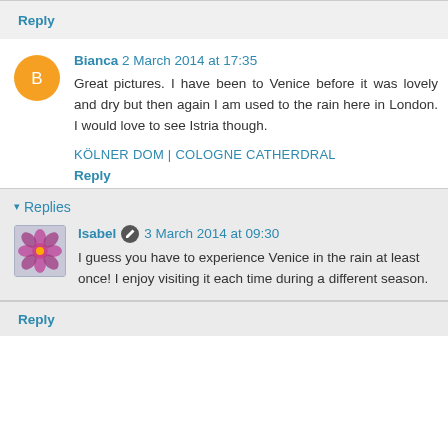Reply
Bianca 2 March 2014 at 17:35
Great pictures. I have been to Venice before it was lovely and dry but then again I am used to the rain here in London. I would love to see Istria though.
KÖLNER DOM | COLOGNE CATHERDRAL
Reply
Replies
Isabel 3 March 2014 at 09:30
I guess you have to experience Venice in the rain at least once! I enjoy visiting it each time during a different season.
Reply